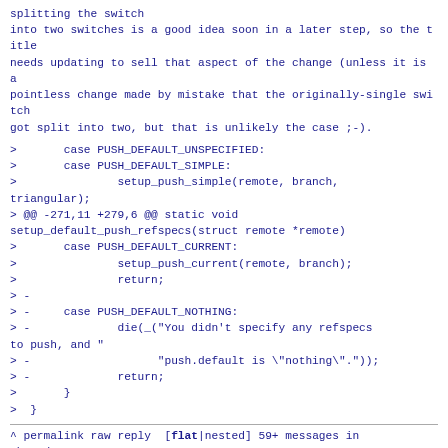splitting the switch
into two switches is a good idea soon in a later step, so the title
needs updating to sell that aspect of the change (unless it is a
pointless change made by mistake that the originally-single switch
got split into two, but that is unlikely the case ;-).
>       case PUSH_DEFAULT_UNSPECIFIED:
>       case PUSH_DEFAULT_SIMPLE:
>               setup_push_simple(remote, branch, triangular);
> @@ -271,11 +279,6 @@ static void setup_default_push_refspecs(struct remote *remote)
>       case PUSH_DEFAULT_CURRENT:
>               setup_push_current(remote, branch);
>               return;
> -
> -     case PUSH_DEFAULT_NOTHING:
> -             die(_("You didn't specify any refspecs to push, and "
> -                   "push.default is \"nothing\".")); 
> -             return;
>       }
>  }
^ permalink raw reply  [flat|nested] 59+ messages in thread